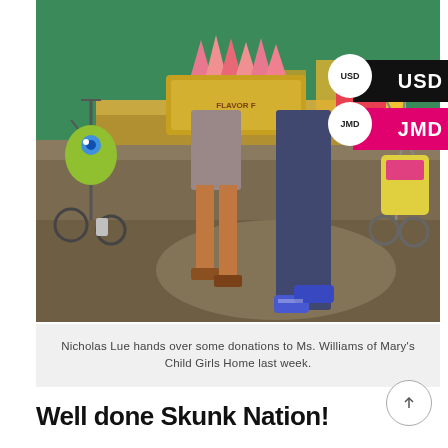[Figure (photo): Photo of Nicholas Lue handing over donations (a box of items) to Ms. Williams of Mary's Child Girls Home. Two people are shown from the torso down, one in gray shorts and sandals, the other in a purple shirt and jeans with sneakers. Baby strollers and a colorful background visible. Currency badges overlay: USD (black background) and JMD (pink/magenta background) on the right side.]
Nicholas Lue hands over some donations to Ms. Williams of Mary's Child Girls Home last week.
Well done Skunk Nation!